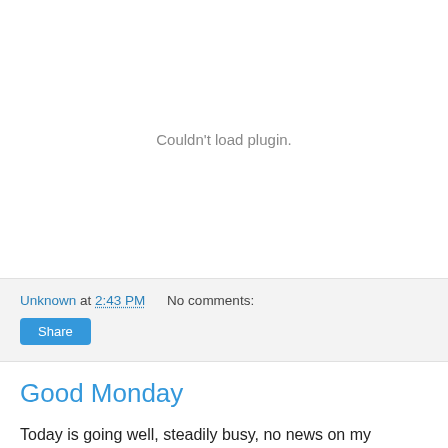[Figure (other): Couldn't load plugin. — a browser plugin embed area that failed to load, showing a grey placeholder message.]
Unknown at 2:43 PM    No comments:
Share
Good Monday
Today is going well, steadily busy, no news on my